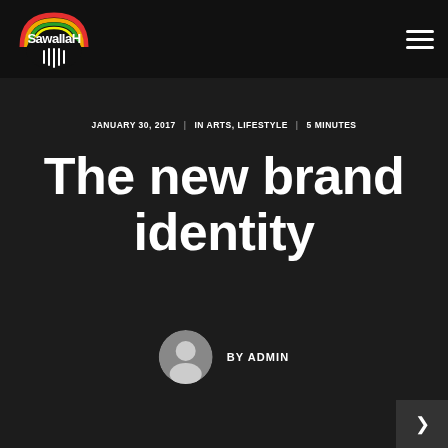[Figure (logo): SawallaH logo with rainbow arc and dark globe/beard icon, white stylized text]
JANUARY 30, 2017  |  IN ARTS, LIFESTYLE  |  5 MINUTES
The new brand identity
[Figure (illustration): Circular grey avatar/user profile icon]
BY ADMIN